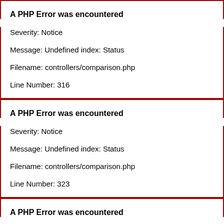A PHP Error was encountered
Severity: Notice
Message: Undefined index: Status
Filename: controllers/comparison.php
Line Number: 316
A PHP Error was encountered
Severity: Notice
Message: Undefined index: Status
Filename: controllers/comparison.php
Line Number: 323
A PHP Error was encountered